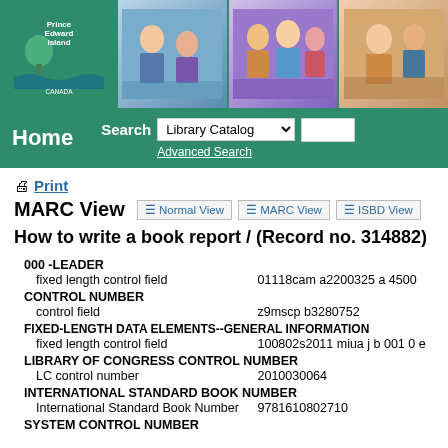[Figure (photo): Prince Edward Island Canada government website header with logo and three photos of children/students]
Home | Search Library Catalog | Advanced Search
Print
MARC View | Normal View | MARC View | ISBD View
How to write a book report / (Record no. 314882)
| Field | Label | Value |
| --- | --- | --- |
| 000 -LEADER |  |  |
|  | fixed length control field | 01118cam a2200325 a 4500 |
| CONTROL NUMBER |  |  |
|  | control field | z9mscp b3280752 |
| FIXED-LENGTH DATA ELEMENTS--GENERAL INFORMATION |  |  |
|  | fixed length control field | 100802s2011 miua j b 001 0 e |
| LIBRARY OF CONGRESS CONTROL NUMBER |  |  |
|  | LC control number | 2010030064 |
| INTERNATIONAL STANDARD BOOK NUMBER |  |  |
|  | International Standard Book Number | 9781610802710 |
| SYSTEM CONTROL NUMBER |  |  |